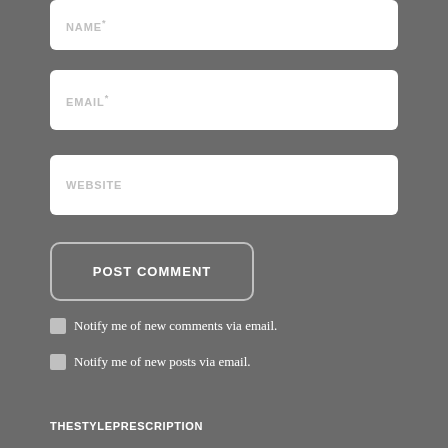NAME *
EMAIL *
WEBSITE
POST COMMENT
Notify me of new comments via email.
Notify me of new posts via email.
THESTYLEPRESCRIPTION